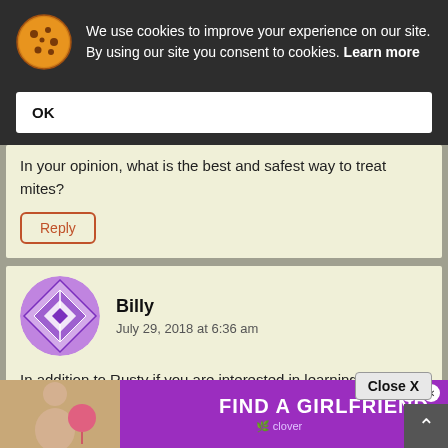We use cookies to improve your experience on our site. By using our site you consent to cookies. Learn more
OK
In your opinion, what is the best and safest way to treat mites?
Reply
Billy
July 29, 2018 at 6:36 am
In addition to Rusty if you are interested in learning alternative methods check out Randy Oliver's site, scie... on... on...